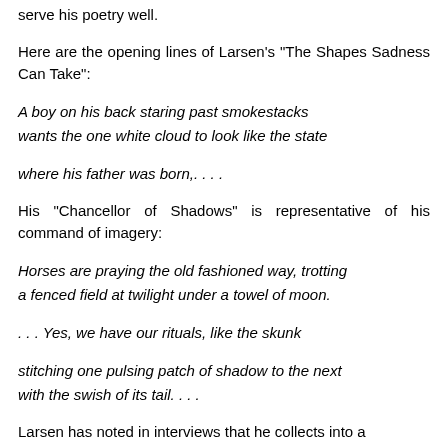serve his poetry well.
Here are the opening lines of Larsen's "The Shapes Sadness Can Take":
A boy on his back staring past smokestacks
wants the one white cloud to look like the state
where his father was born,. . . .
His "Chancellor of Shadows" is representative of his command of imagery:
Horses are praying the old fashioned way, trotting
a fenced field at twilight under a towel of moon.
. . . Yes, we have our rituals, like the skunk
stitching one pulsing patch of shadow to the next
with the swish of its tail. . . .
Larsen has noted in interviews that he collects into a